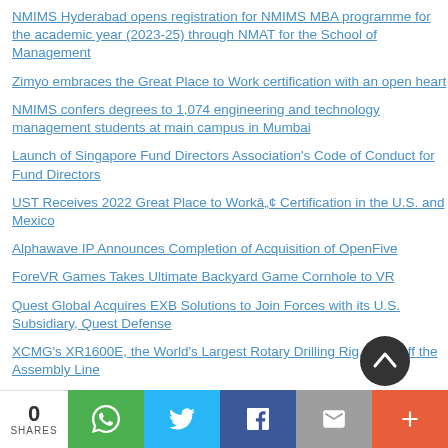NMIMS Hyderabad opens registration for NMIMS MBA programme for the academic year (2023-25) through NMAT for the School of Management
Zimyo embraces the Great Place to Work certification with an open heart
NMIMS confers degrees to 1,074 engineering and technology management students at main campus in Mumbai
Launch of Singapore Fund Directors Association's Code of Conduct for Fund Directors
UST Receives 2022 Great Place to Work™ Certification in the U.S. and Mexico
Alphawave IP Announces Completion of Acquisition of OpenFive
ForeVR Games Takes Ultimate Backyard Game Cornhole to VR
Quest Global Acquires EXB Solutions to Join Forces with its U.S. Subsidiary, Quest Defense
XCMG's XR1600E, the World's Largest Rotary Drilling Rig, Rolls off the Assembly Line
[Figure (infographic): Social share bar with count '0 SHARES' and buttons for WhatsApp (green), Twitter (blue), Facebook (dark blue), Email (grey), and More (orange-red)]